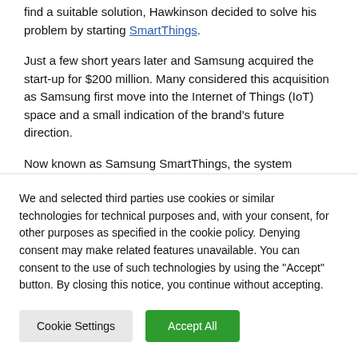find a suitable solution, Hawkinson decided to solve his problem by starting SmartThings.
Just a few short years later and Samsung acquired the start-up for $200 million. Many considered this acquisition as Samsung first move into the Internet of Things (IoT) space and a small indication of the brand's future direction.
Now known as Samsung SmartThings, the system
We and selected third parties use cookies or similar technologies for technical purposes and, with your consent, for other purposes as specified in the cookie policy. Denying consent may make related features unavailable. You can consent to the use of such technologies by using the "Accept" button. By closing this notice, you continue without accepting.
Cookie Settings
Accept All